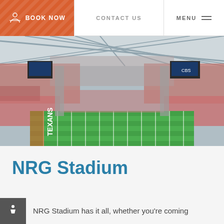BOOK NOW | CONTACT US | MENU
[Figure (photo): Aerial interior view of NRG Stadium filled with spectators, showing the football field with TEXANS end zone and the retractable roof structure overhead.]
NRG Stadium
NRG Stadium has it all, whether you're coming